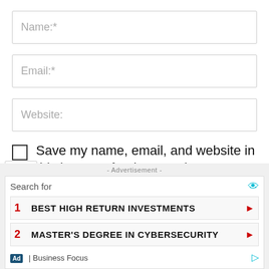Name:*
Email:*
Website:
Save my name, email, and website in this browser for the next time I comment.
POST COMMENT
- Advertisement -
[Figure (screenshot): Advertisement banner with search results: 1. BEST HIGH RETURN INVESTMENTS, 2. MASTER'S DEGREE IN CYBERSECURITY. Shows 'Search for' header with eye icon, Business Focus attribution.]